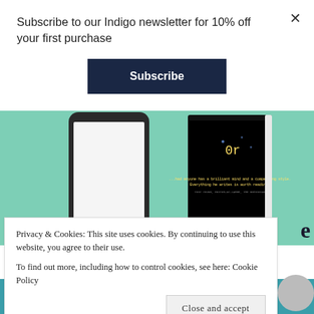Subscribe to our Indigo newsletter for 10% off your first purchase
Subscribe
[Figure (screenshot): Mint green background with a smartphone and a dark book cover showing a hacking/code theme]
I                                                               e
Privacy & Cookies: This site uses cookies. By continuing to use this website, you agree to their use.
To find out more, including how to control cookies, see here: Cookie Policy
Close and accept
[Figure (illustration): Teal/blue sale banner section at bottom with a Sale! badge circle]